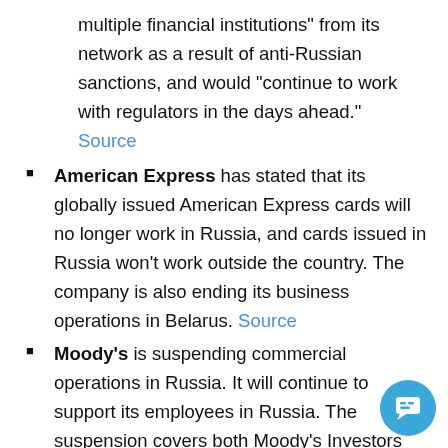multiple financial institutions" from its network as a result of anti-Russian sanctions, and would "continue to work with regulators in the days ahead." Source
American Express has stated that its globally issued American Express cards will no longer work in Russia, and cards issued in Russia won't work outside the country. The company is also ending its business operations in Belarus. Source
Moody's is suspending commercial operations in Russia. It will continue to support its employees in Russia. The suspension covers both Moody's Investors Service (MIS) and Moody's Analytics (MA) operations. Moody's